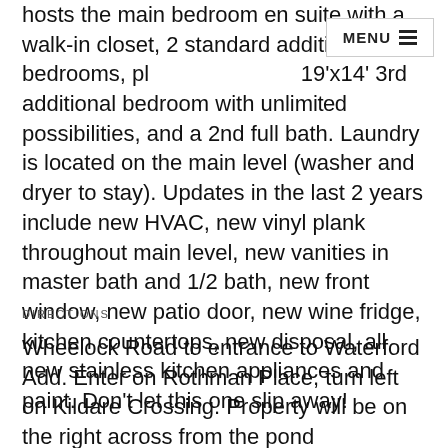hosts the main bedroom en suite with a walk-in closet, 2 standard additional bedrooms, plus a 19'x14' 3rd additional bedroom with unlimited possibilities, and a 2nd full bath. Laundry is located on the main level (washer and dryer to stay). Updates in the last 2 years include new HVAC, new vinyl plank throughout main level, new vanities in master bath and 1/2 bath, new front window, new patio door, new wine fridge, kitchen countertops, new disposal, all new stainless kitchen appliances and paint. Don't let this one slip away!
DIRECTIONS
Wheelock Road to entrance to Waterford Add. Enter on Rothman Place, turn left on Kildare Crossing. Property will be on the right across from the pond